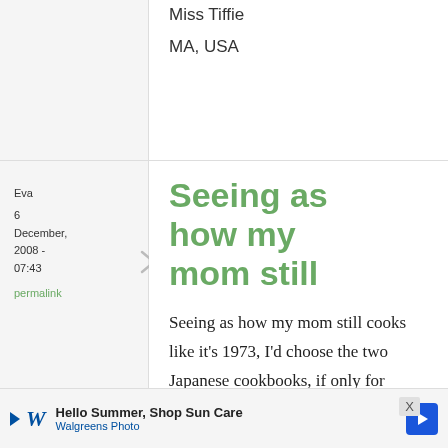Miss Tiffie
MA, USA
Eva
6 December, 2008 - 07:43
permalink
Seeing as how my mom still
Seeing as how my mom still cooks like it's 1973, I'd choose the two Japanese cookbooks, if only for
[Figure (screenshot): Walgreens Photo advertisement banner: Hello Summer, Shop Sun Care]